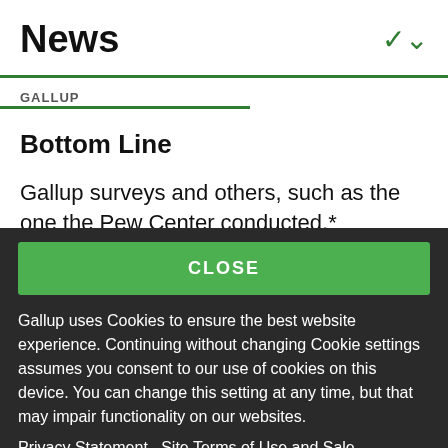News
GALLUP
Bottom Line
Gallup surveys and others, such as the one the Pew Center conducted,* document that many in sub-
CLOSE
Gallup uses Cookies to ensure the best website experience. Continuing without changing Cookie settings assumes you consent to our use of cookies on this device. You can change this setting at any time, but that may impair functionality on our websites.
Privacy Statement   Site Terms of Use and Sale
Product Terms of Use   Adjust your cookie settings.